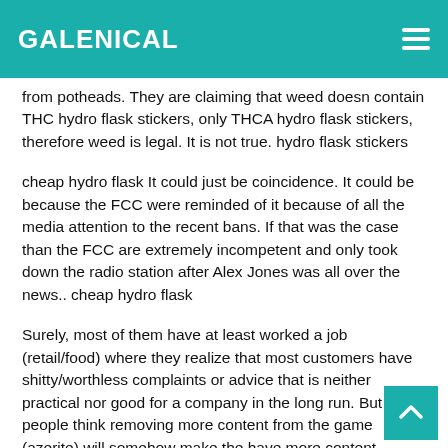GALENICAL
from potheads. They are claiming that weed doesn contain THC hydro flask stickers, only THCA hydro flask stickers, therefore weed is legal. It is not true. hydro flask stickers
cheap hydro flask It could just be coincidence. It could be because the FCC were reminded of it because of all the media attention to the recent bans. If that was the case than the FCC are extremely incompetent and only took down the radio station after Alex Jones was all over the news.. cheap hydro flask
Surely, most of them have at least worked a job (retail/food) where they realize that most customers have shitty/worthless complaints or advice that is neither practical nor good for a company in the long run. But alas, people think removing more content from the game (azerite) will somehow make the have more content. What?.